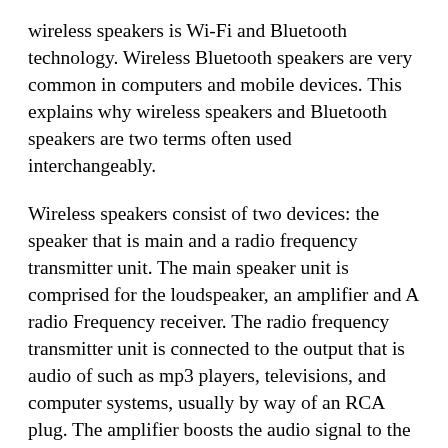wireless speakers is Wi-Fi and Bluetooth technology. Wireless Bluetooth speakers are very common in computers and mobile devices. This explains why wireless speakers and Bluetooth speakers are two terms often used interchangeably.
Wireless speakers consist of two devices: the speaker that is main and a radio frequency transmitter unit. The main speaker unit is comprised for the loudspeaker, an amplifier and A radio Frequency receiver. The radio frequency transmitter unit is connected to the output that is audio of such as mp3 players, televisions, and computer systems, usually by way of an RCA plug. The amplifier boosts the audio signal to the loudspeaker for better noise. The main presenter unit is generally driven by rechargeable batteries that may last for 4 to simply over 20 hours whenever fully charged. Most rechargeable batteries are not replaceable, and